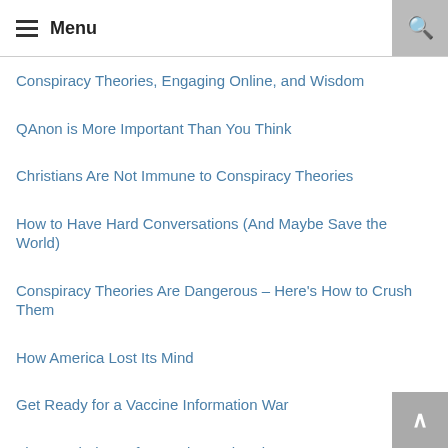Menu
Conspiracy Theories, Engaging Online, and Wisdom
QAnon is More Important Than You Think
Christians Are Not Immune to Conspiracy Theories
How to Have Hard Conversations (And Maybe Save the World)
Conspiracy Theories Are Dangerous – Here's How to Crush Them
How America Lost Its Mind
Get Ready for a Vaccine Information War
The Psychology of Conspiracy Theories